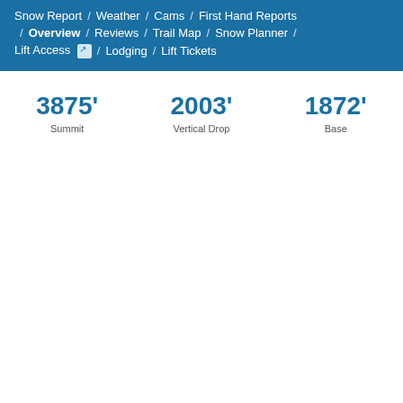Snow Report / Weather / Cams / First Hand Reports / Overview / Reviews / Trail Map / Snow Planner / Lift Access / Lodging / Lift Tickets
3875' Summit
2003' Vertical Drop
1872' Base